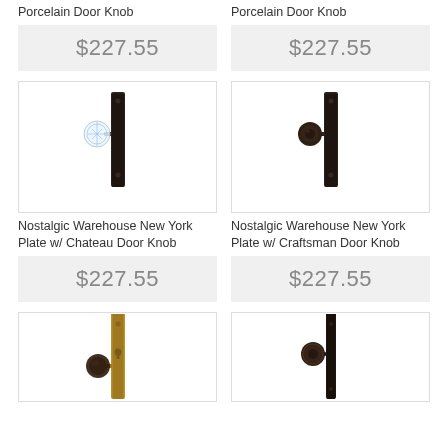Porcelain Door Knob
Porcelain Door Knob
$227.55
$227.55
[Figure (photo): Nostalgic Warehouse New York Plate with Chateau Door Knob, dark bronze finish, crystal knob, tall rectangular backplate]
[Figure (photo): Nostalgic Warehouse New York Plate with Craftsman Door Knob, dark bronze finish, round craftsman knob, tall rectangular backplate]
Nostalgic Warehouse New York Plate w/ Chateau Door Knob
Nostalgic Warehouse New York Plate w/ Craftsman Door Knob
$227.55
$227.55
[Figure (photo): Door knob with tall rectangular backplate, antique brass/gold finish, dark crystal knob]
[Figure (photo): Door knob with tall rectangular backplate, dark bronze finish, craftsman-style round knob]